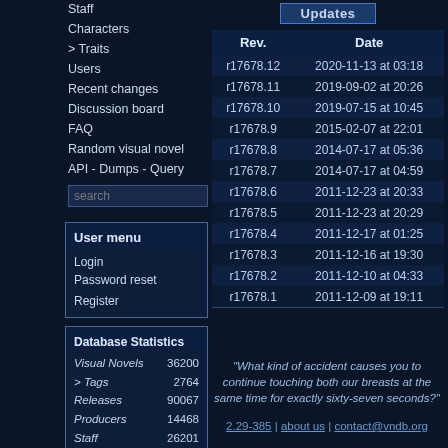Staff
Characters
> Traits
Users
Recent changes
Discussion board
FAQ
Random visual novel
API - Dumps - Query
User menu
Login
Password reset
Register
Database Statistics
| Visual Novels | 36200 |
| > Tags | 2764 |
| Releases | 90067 |
| Producers | 14468 |
| Staff | 26201 |
| Characters | 110025 |
| > Traits | 3098 |
| Rev. | Date |
| --- | --- |
| r17678.12 | 2020-11-13 at 03:18 |
| r17678.11 | 2019-09-02 at 20:26 |
| r17678.10 | 2019-07-15 at 10:45 |
| r17678.9 | 2015-02-07 at 22:01 |
| r17678.8 | 2014-07-17 at 05:36 |
| r17678.7 | 2014-07-17 at 04:59 |
| r17678.6 | 2011-12-23 at 20:33 |
| r17678.5 | 2011-12-23 at 20:29 |
| r17678.4 | 2011-12-17 at 01:25 |
| r17678.3 | 2011-12-16 at 19:30 |
| r17678.2 | 2011-12-10 at 04:33 |
| r17678.1 | 2011-12-09 at 19:11 |
"What kind of accident causes you to continue touching both our breasts at the same time for exactly sixty-seven seconds?"
2.29-385 | about us | contact@vndb.org